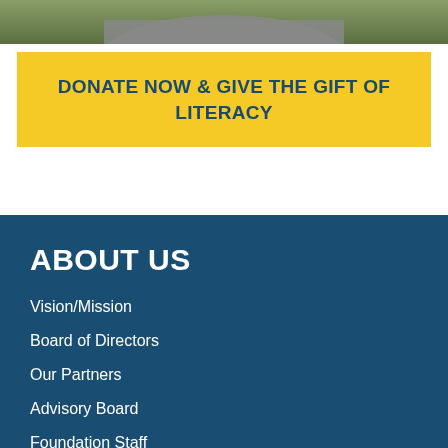[Figure (photo): Partial photo of a person wearing a grey shirt, outdoors with green foliage in the background, cropped to show only the upper torso area.]
DONATE NOW & GIVE THE GIFT OF LITERACY
ABOUT US
Vision/Mission
Board of Directors
Our Partners
Advisory Board
Foundation Staff